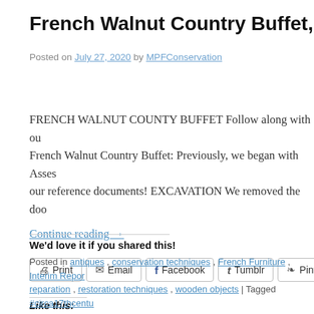French Walnut Country Buffet, 2, Excava…
Posted on July 27, 2020 by MPFConservation
FRENCH WALNUT COUNTY BUFFET Follow along with our French Walnut Country Buffet: Previously, we began with Assessment and our reference documents! EXCAVATION We removed the door…
Continue reading →
We'd love it if you shared this!
Print  Email  Facebook  Tumblr  Pinterest
Like this:
Loading...
Posted in antiques, conservation techniques, French Furniture, Interim Repor… reparation, restoration techniques, wooden objects | Tagged #circa17thcentur…